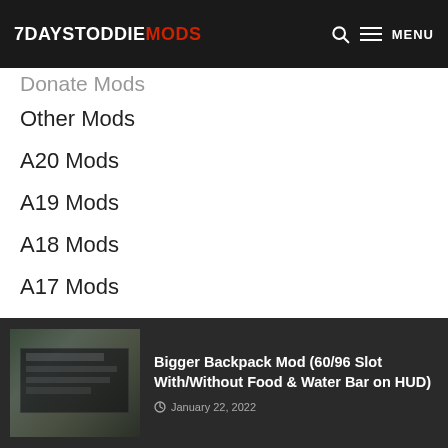7DAYSTODIEMODS  🔍  ☰ MENU
Donate Mods
Other Mods
A20 Mods
A19 Mods
A18 Mods
A17 Mods
[Figure (photo): Thumbnail image of game inventory/backpack UI mod screenshot]
Bigger Backpack Mod (60/96 Slot With/Without Food & Water Bar on HUD)
January 22, 2022